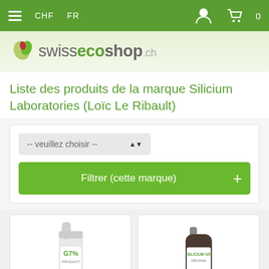CHF  FR  [user icon] [cart icon] 0
[Figure (logo): swissecoshop.ch logo with leaf icons on green gradient background]
Liste des produits de la marque Silicium Laboratories (Loïc Le Ribault)
-- veuillez choisir --
Filtrer (cette marque)
[Figure (photo): Product image: G7% spray bottle (G7 PRODUCT)]
[Figure (photo): Product image: SILICIUM G5 ORIGINAL dark glass bottle]